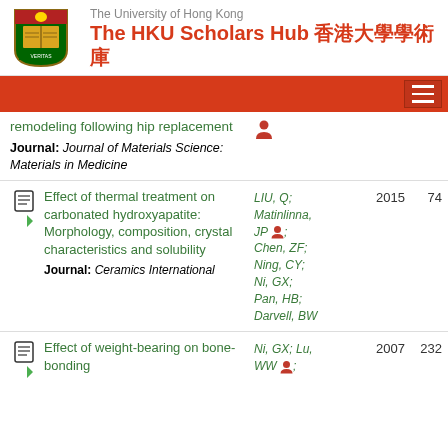The University of Hong Kong — The HKU Scholars Hub 香港大學學術庫
remodeling following hip replacement
Journal: Journal of Materials Science: Materials in Medicine
Effect of thermal treatment on carbonated hydroxyapatite: Morphology, composition, crystal characteristics and solubility
Authors: LIU, Q; Matinlinna, JP; Chen, ZF; Ning, CY; Ni, GX; Pan, HB; Darvell, BW
Journal: Ceramics International
Year: 2015
Citations: 74
Effect of weight-bearing on bone-bonding
Authors: Ni, GX; Lu, WW;
Year: 2007
Citations: 232